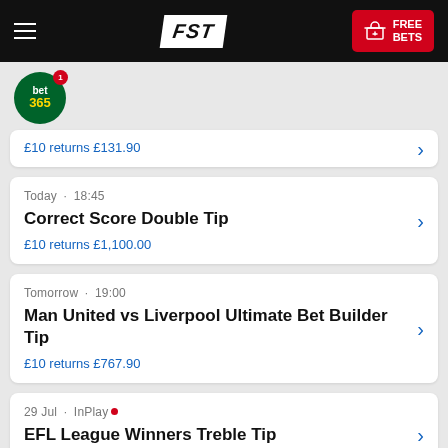FST | FREE BETS
[Figure (logo): bet365 circular green logo with badge showing 1]
£10 returns £131.90
Today · 18:45
Correct Score Double Tip
£10 returns £1,100.00
Tomorrow · 19:00
Man United vs Liverpool Ultimate Bet Builder Tip
£10 returns £767.90
29 Jul · InPlay
EFL League Winners Treble Tip
£10 returns £9,750.00